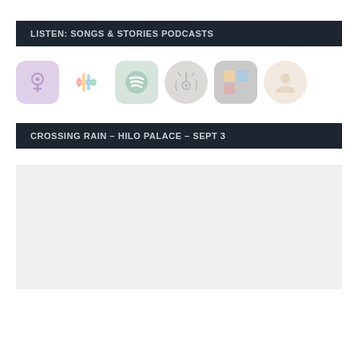LISTEN: SONGS & STORIES PODCASTS
[Figure (illustration): Row of podcast platform icons: Apple Podcasts (purple rounded square), Google Podcasts (colorful bar chart icon), Spotify (green rounded square with three curved lines), Overcast (circular icon with antenna/tower), Pocket Casts (dark rounded square with colorful blocks), and a contact/person circular icon]
CROSSING RAIN – HILO PALACE – SEPT 3
[Figure (photo): Light gray/white rectangular placeholder image area]